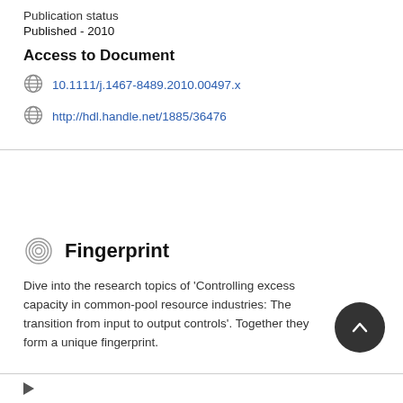Publication status
Published - 2010
Access to Document
10.1111/j.1467-8489.2010.00497.x
http://hdl.handle.net/1885/36476
Fingerprint
Dive into the research topics of 'Controlling excess capacity in common-pool resource industries: The transition from input to output controls'. Together they form a unique fingerprint.